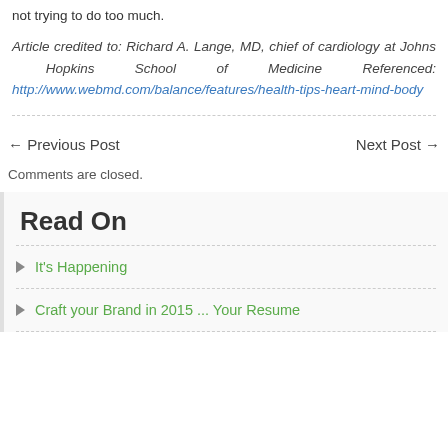not trying to do too much.
Article credited to: Richard A. Lange, MD, chief of cardiology at Johns Hopkins School of Medicine Referenced: http://www.webmd.com/balance/features/health-tips-heart-mind-body
← Previous Post   Next Post →
Comments are closed.
Read On
It's Happening
Craft your Brand in 2015 ... Your Resume